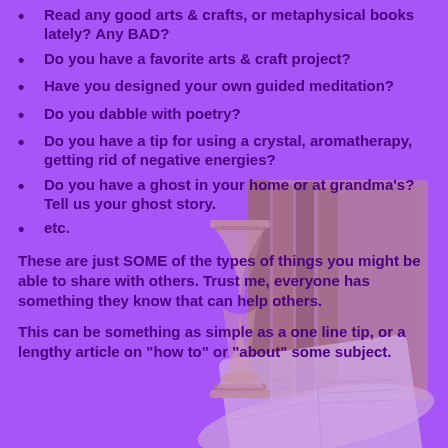Read any good arts & crafts, or metaphysical books lately? Any BAD?
Do you have a favorite arts & craft project?
Have you designed your own guided meditation?
Do you dabble with poetry?
Do you have a tip for using a crystal, aromatherapy, getting rid of negative energies?
Do you have a ghost in your home or at grandma's? Tell us your ghost story.
etc.
These are just SOME of the types of things you might be able to share with others. Trust me, everyone has something they know that can help others.
This can be something as simple as a one line tip, or a lengthy article on "how to" or "about" some subject.
[Figure (illustration): Decorative illustration of stacked old books and an hourglass with an open book in front, rendered in warm golden/tan tones, semi-transparent overlay on purple background.]